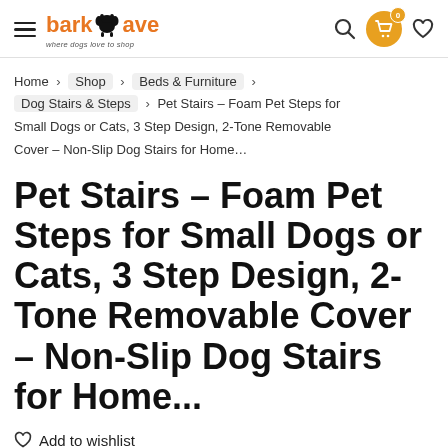barkave — where dogs love to shop (header with hamburger menu, search, cart, wishlist icons)
Home > Shop > Beds & Furniture > Dog Stairs & Steps > Pet Stairs – Foam Pet Steps for Small Dogs or Cats, 3 Step Design, 2-Tone Removable Cover – Non-Slip Dog Stairs for Home...
Pet Stairs – Foam Pet Steps for Small Dogs or Cats, 3 Step Design, 2-Tone Removable Cover – Non-Slip Dog Stairs for Home...
Add to wishlist